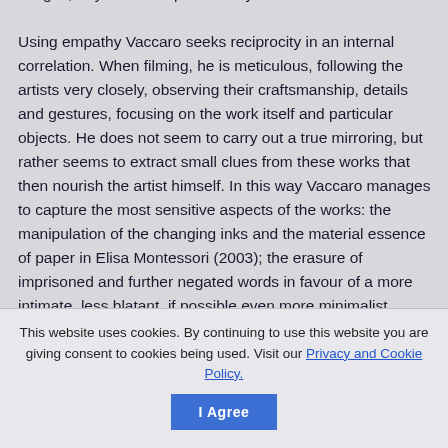images; I try to build a poetic story.

Using empathy Vaccaro seeks reciprocity in an internal correlation. When filming, he is meticulous, following the artists very closely, observing their craftsmanship, details and gestures, focusing on the work itself and particular objects. He does not seem to carry out a true mirroring, but rather seems to extract small clues from these works that then nourish the artist himself. In this way Vaccaro manages to capture the most sensitive aspects of the works: the manipulation of the changing inks and the material essence of paper in Elisa Montessori (2003); the erasure of imprisoned and further negated words in favour of a more intimate, less blatant, if possible even more minimalist dimension in claudioadami notes (2005); and
This website uses cookies. By continuing to use this website you are giving consent to cookies being used. Visit our Privacy and Cookie Policy.